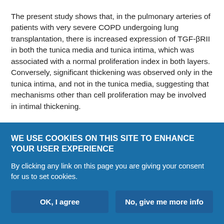The present study shows that, in the pulmonary arteries of patients with very severe COPD undergoing lung transplantation, there is increased expression of TGF-βRII in both the tunica media and tunica intima, which was associated with a normal proliferation index in both layers. Conversely, significant thickening was observed only in the tunica intima, and not in the tunica media, suggesting that mechanisms other than cell proliferation may be involved in intimal thickening.
Since TGF-β1 has been implicated in the pathogenesis of COPD and TGF-βRII in that of pulmonary hypertension 10–17, the focus of
WE USE COOKIES ON THIS SITE TO ENHANCE YOUR USER EXPERIENCE
By clicking any link on this page you are giving your consent for us to set cookies.